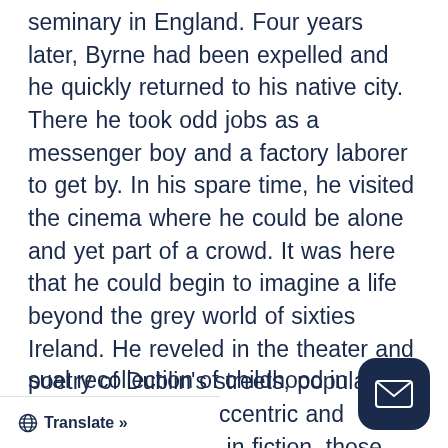seminary in England. Four years later, Byrne had been expelled and he quickly returned to his native city. There he took odd jobs as a messenger boy and a factory laborer to get by. In his spare time, he visited the cinema where he could be alone and yet part of a crowd. It was here that he could begin to imagine a life beyond the grey world of sixties Ireland. He reveled in the theater and poetry of Dublin's streets, populated by characters as eccentric and remarkable as any in fiction, those who spin a yarn with acuity and wit. It was a friend who suggested Byrne join an amateur drama group, a decision that would change his life forever and launch him on an extraordinary forty-year career in film and theater. Movi... ...sual recollection of childhood in